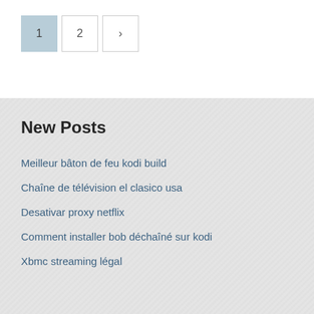[Figure (other): Pagination controls with three boxes: page 1 (active, blue-grey background), page 2, and a next arrow (>)]
New Posts
Meilleur bâton de feu kodi build
Chaîne de télévision el clasico usa
Desativar proxy netflix
Comment installer bob déchaîné sur kodi
Xbmc streaming légal